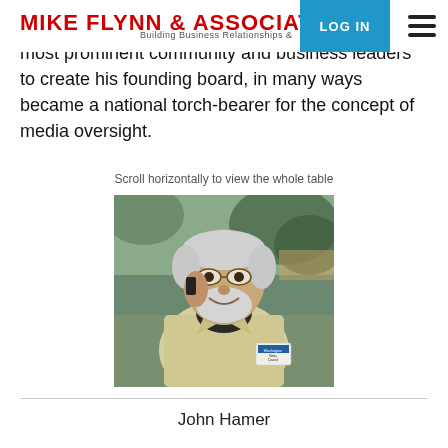Mike Flynn & Associates
most prominent community and business leaders to create his founding board, in many ways became a national torch-bearer for the concept of media oversight.
Scroll horizontally to view the whole table
[Figure (photo): Older man with white/grey hair and beard, wearing glasses and a light-colored jacket, talking on a cell phone outdoors. Badge reads 'Washington News Council'.]
John Hamer